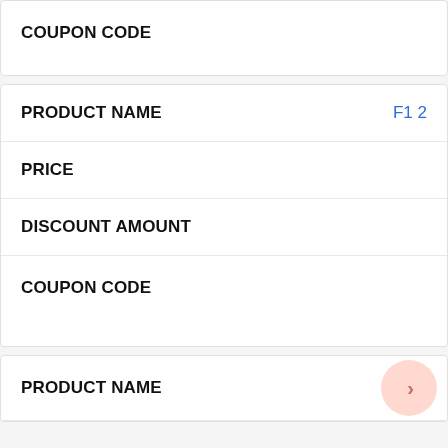| COUPON CODE |
| --- |
|  |
| PRODUCT NAME | F1 2 |
| --- | --- |
| PRICE |  |
| DISCOUNT AMOUNT |  |
| COUPON CODE |  |
| PRODUCT NAME |
| --- |
|  |